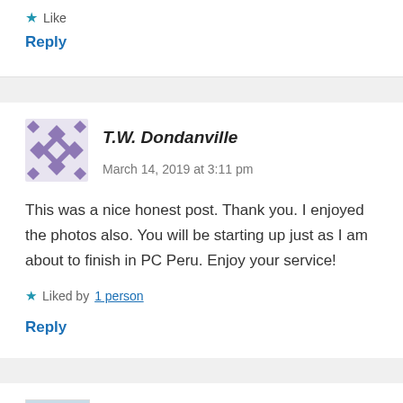Like
Reply
T.W. Dondanville   March 14, 2019 at 3:11 pm
This was a nice honest post. Thank you. I enjoyed the photos also. You will be starting up just as I am about to finish in PC Peru. Enjoy your service!
Liked by 1 person
Reply
maddymarq   March 14, 2019 at 6:17 pm